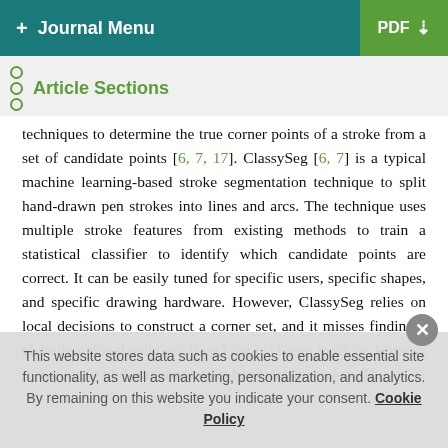+ Journal Menu | PDF ↓
Article Sections
techniques to determine the true corner points of a stroke from a set of candidate points [6, 7, 17]. ClassySeg [6, 7] is a typical machine learning-based stroke segmentation technique to split hand-drawn pen strokes into lines and arcs. The technique uses multiple stroke features from existing methods to train a statistical classifier to identify which candidate points are correct. It can be easily tuned for specific users, specific shapes, and specific drawing hardware. However, ClassySeg relies on local decisions to construct a corner set, and it misses finding a globally optimal solution. RankFrag [17] uses machine learning technique to find corner points in hand-drawn strokes. The
This website stores data such as cookies to enable essential site functionality, as well as marketing, personalization, and analytics. By remaining on this website you indicate your consent. Cookie Policy